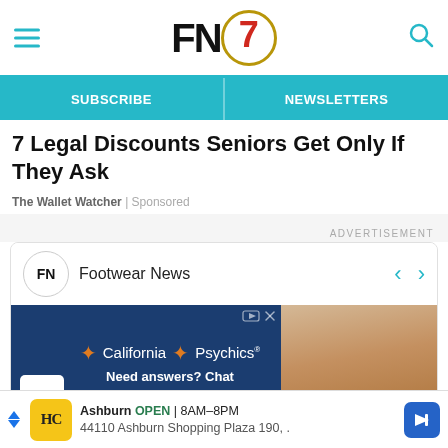FN7 — Footwear News header with hamburger menu and search icon
SUBSCRIBE | NEWSLETTERS
7 Legal Discounts Seniors Get Only If They Ask
The Wallet Watcher | Sponsored
ADVERTISEMENT
[Figure (screenshot): Footwear News social media / carousel ad card with FN logo, navigation arrows, and a California Psychics advertisement showing 'Need answers? Chat with a Psychic now.']
[Figure (screenshot): Bottom banner ad: Ashburn OPEN 8AM-8PM, 44110 Ashburn Shopping Plaza 190, with HC logo and navigation arrow]